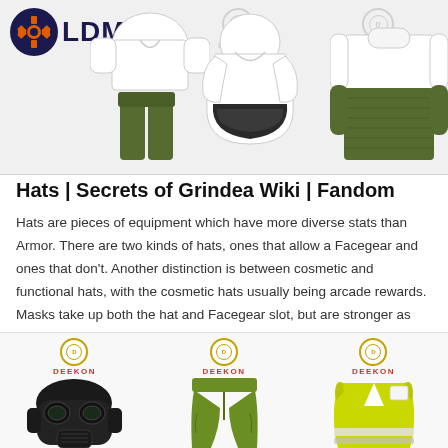[Figure (photo): Top banner with LDM logo on the left and three clothing product images (shirt+pants, raincoat, sweater) with faded Deekon watermarks]
Hats | Secrets of Grindea Wiki | Fandom
Hats are pieces of equipment which have more diverse stats than Armor. There are two kinds of hats, ones that allow a Facegear and ones that don't. Another distinction is between cosmetic and functional hats, with the cosmetic hats usually being arcade rewards. Masks take up both the hat and Facegear slot, but are stronger as compensation. Most cosmetic hats are rewards from ...
[Figure (photo): Bottom row of three product images: gas mask/helmet, olive pants, yellow high-visibility vest, each with Deekon badge and label]